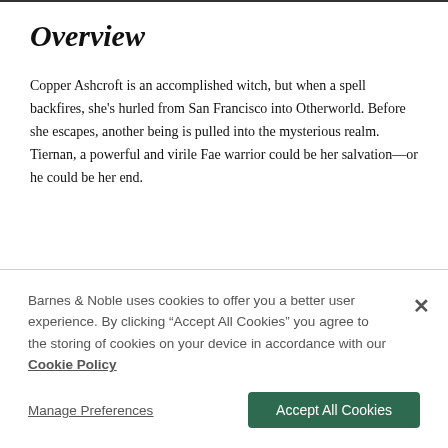Overview
Copper Ashcroft is an accomplished witch, but when a spell backfires, she's hurled from San Francisco into Otherworld. Before she escapes, another being is pulled into the mysterious realm. Tiernan, a powerful and virile Fae warrior could be her salvation—or he could be her end.
Tiernan and other warriors of his kind stand alongside the San
Barnes & Noble uses cookies to offer you a better user experience. By clicking "Accept All Cookies" you agree to the storing of cookies on your device in accordance with our Cookie Policy
Manage Preferences
Accept All Cookies